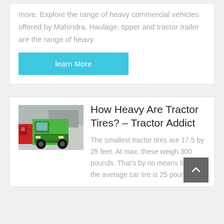more. Explore the range of heavy commercial vehicles offered by Mahindra. Haulage, tipper and tractor trailer are the range of heavy
learn More
[Figure (photo): Green heavy truck (tractor unit) parked with red trucks in background]
How Heavy Are Tractor Tires? – Tractor Addict
The smallest tractor tires are 17.5 by 25 feet. At max, these weigh 300 pounds. That's by no means light, as the average car tire is 25 pounds.